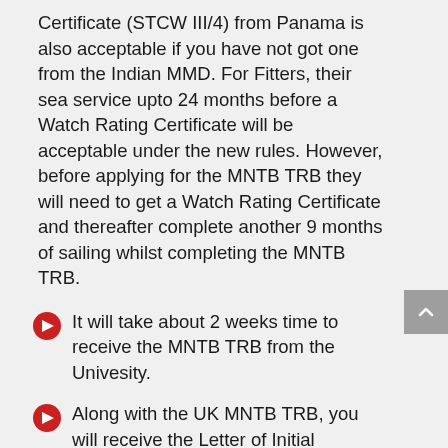Certificate (STCW III/4) from Panama is also acceptable if you have not got one from the Indian MMD. For Fitters, their sea service upto 24 months before a Watch Rating Certificate will be acceptable under the new rules. However, before applying for the MNTB TRB they will need to get a Watch Rating Certificate and thereafter complete another 9 months of sailing whilst completing the MNTB TRB.
It will take about 2 weeks time to receive the MNTB TRB from the Univesity.
Along with the UK MNTB TRB, you will receive the Letter of Initial Assessment (LiA) from the University. The MNTB TRB comes as a hard copy (not as a soft copy)